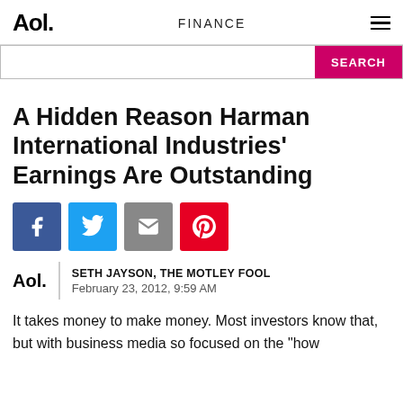Aol. | FINANCE
[Figure (other): Search bar with pink SEARCH button]
A Hidden Reason Harman International Industries' Earnings Are Outstanding
[Figure (infographic): Social share buttons: Facebook, Twitter, Email, Pinterest]
SETH JAYSON, THE MOTLEY FOOL | February 23, 2012, 9:59 AM
It takes money to make money. Most investors know that, but with business media so focused on the "how